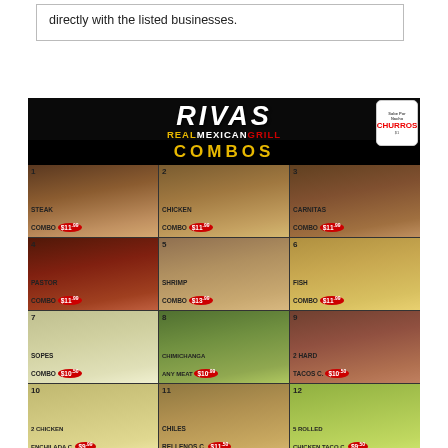directly with the listed businesses.
[Figure (photo): Rivas Real Mexican Grill menu board showing 12 combo items with food photos and prices. Combos include: 1. Steak Combo $11.99, 2. Chicken Combo $11.99, 3. Carnitas Combo $11.99, 4. Pastor Combo $11.99, 5. Shrimp Combo $13.99, 6. Fish Combo $11.99, 7. Sopes Combo $10.50, 8. Chimichanga Any Meat $10.99, 9. 2 Hard Tacos C. $10.50, 10. 2 Chicken Enchilada C. $9.99, 11. Chiles Rellenos C. $11.50, 12. 5 Rolled Chicken Taco C. $9.50]